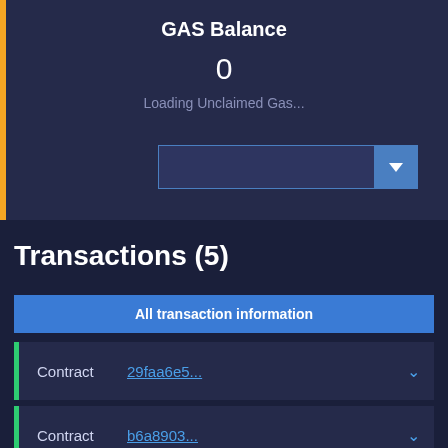GAS Balance
0
Loading Unclaimed Gas...
Transactions (5)
All transaction information
Contract  29faa6e5...
Contract  b6a8903...